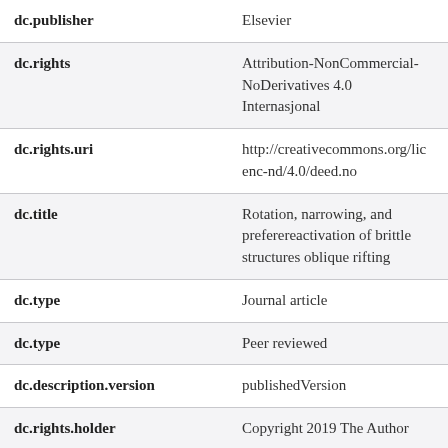| Field | Value |
| --- | --- |
| dc.publisher | Elsevier |
| dc.rights | Attribution-NonCommercial-NoDerivatives 4.0 Internasjonal |
| dc.rights.uri | http://creativecommons.org/licenses/by-nc-nd/4.0/deed.no |
| dc.title | Rotation, narrowing, and preferential reactivation of brittle structures during oblique rifting |
| dc.type | Journal article |
| dc.type | Peer reviewed |
| dc.description.version | publishedVersion |
| dc.rights.holder | Copyright 2019 The Author |
| dc.source.articlenumber | 115952 |